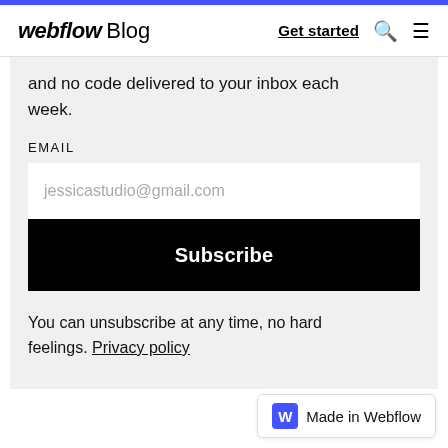webflow Blog | Get started
and no code delivered to your inbox each week.
EMAIL
jessicastudio@gmail.com
Subscribe
You can unsubscribe at any time, no hard feelings. Privacy policy
Made in Webflow